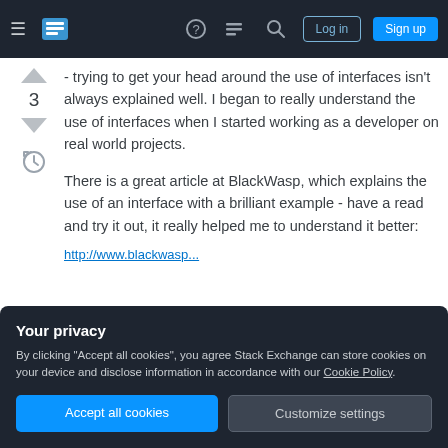Stack Exchange navigation bar with Log in and Sign up buttons
- trying to get your head around the use of interfaces isn't always explained well. I began to really understand the use of interfaces when I started working as a developer on real world projects.
There is a great article at BlackWasp, which explains the use of an interface with a brilliant example - have a read and try it out, it really helped me to understand it better:
Your privacy
By clicking "Accept all cookies", you agree Stack Exchange can store cookies on your device and disclose information in accordance with our Cookie Policy.
Accept all cookies
Customize settings